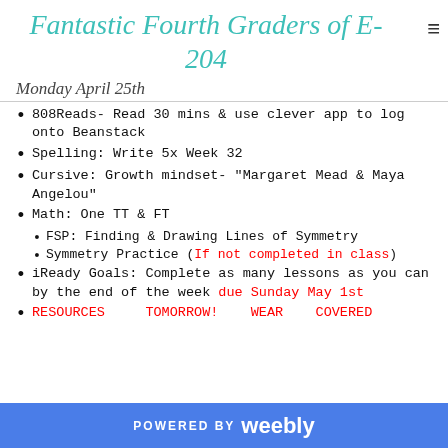Fantastic Fourth Graders of E-204
Monday April 25th
808Reads- Read 30 mins & use clever app to log onto Beanstack
Spelling: Write 5x Week 32
Cursive: Growth mindset- "Margaret Mead & Maya Angelou"
Math: One TT & FT
FSP: Finding & Drawing Lines of Symmetry
Symmetry Practice (If not completed in class)
iReady Goals: Complete as many lessons as you can by the end of the week due Sunday May 1st
RESOURCES TOMORROW! WEAR COVERED
POWERED BY weebly